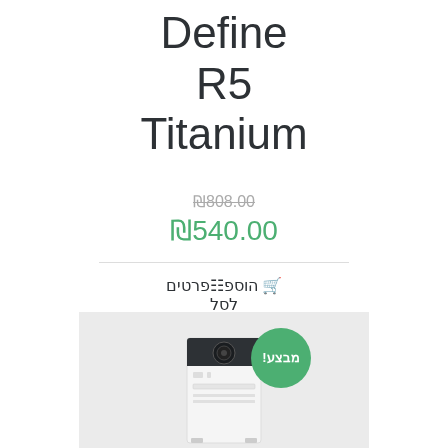Define R5 Titanium
₪808.00 (strikethrough old price)
₪540.00
הוספ פרטים לסל
[Figure (photo): White PC tower case with dark top panel and circular fan visible on side, shown with a green circular badge reading מבצע! (Sale!)]